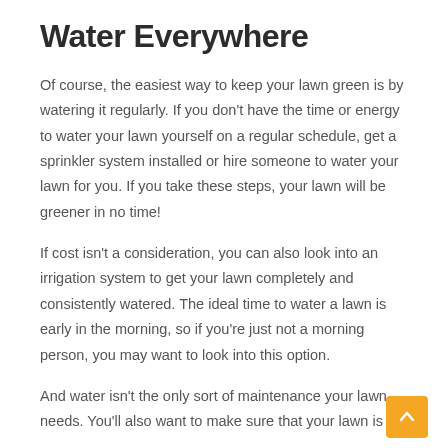Water Everywhere
Of course, the easiest way to keep your lawn green is by watering it regularly. If you don't have the time or energy to water your lawn yourself on a regular schedule, get a sprinkler system installed or hire someone to water your lawn for you. If you take these steps, your lawn will be greener in no time!
If cost isn't a consideration, you can also look into an irrigation system to get your lawn completely and consistently watered. The ideal time to water a lawn is early in the morning, so if you're just not a morning person, you may want to look into this option.
And water isn't the only sort of maintenance your lawn needs. You'll also want to make sure that your lawn is